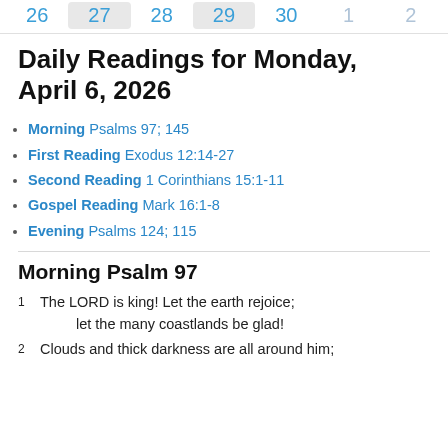26 27 28 29 30 1 2
Daily Readings for Monday, April 6, 2026
Morning Psalms 97; 145
First Reading Exodus 12:14-27
Second Reading 1 Corinthians 15:1-11
Gospel Reading Mark 16:1-8
Evening Psalms 124; 115
Morning Psalm 97
1 The LORD is king! Let the earth rejoice;
    let the many coastlands be glad!
2 Clouds and thick darkness are all around him;